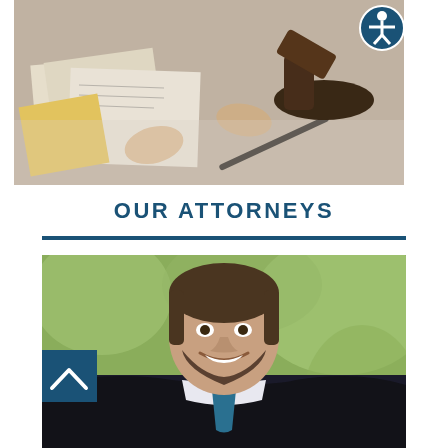[Figure (photo): Photo of two people at a desk with documents and a judge's gavel, viewed from above, suggesting a legal consultation. An accessibility icon is visible in the top right corner.]
OUR ATTORNEYS
[Figure (photo): Professional headshot of a smiling male attorney with a beard, wearing a dark suit and teal tie, with a blurred green outdoor background. A blue scroll-up button is overlaid in the lower left.]